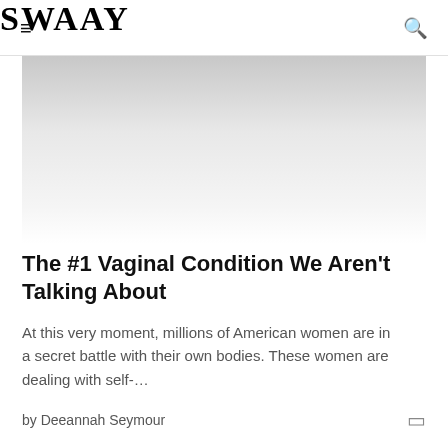SWAAY
[Figure (photo): Light gray gradient hero image area, fading from medium gray at top to white at bottom]
The #1 Vaginal Condition We Aren't Talking About
At this very moment, millions of American women are in a secret battle with their own bodies. These women are dealing with self-…
by Deeannah Seymour